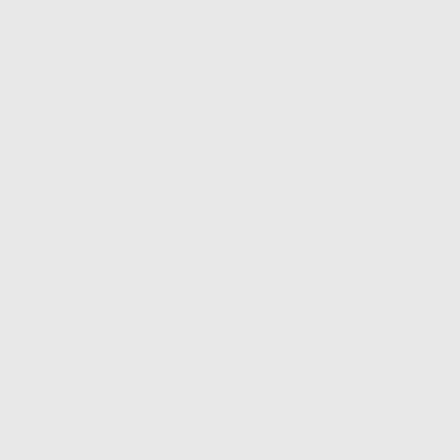[Figure (screenshot): Screenshot panel showing a box/frame at the top right, partially visible, with a white upper section and gray lower section separated by a horizontal line]
However, if the Statistics ... detailed report:
|  | Execut... |
| --- | --- |
| Page | 100.0... |
| Header | 56.72... |
| Kernel | 37.42%... |
| 0 PHP code |  |
| 1 /site_hu/include... |  |